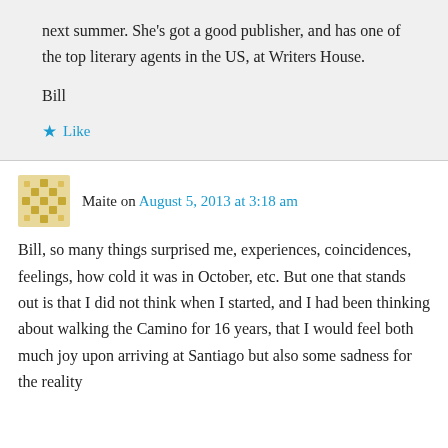next summer. She's got a good publisher, and has one of the top literary agents in the US, at Writers House.
Bill
★ Like
Maite on August 5, 2013 at 3:18 am
Bill, so many things surprised me, experiences, coincidences, feelings, how cold it was in October, etc. But one that stands out is that I did not think when I started, and I had been thinking about walking the Camino for 16 years, that I would feel both much joy upon arriving at Santiago but also some sadness for the reality